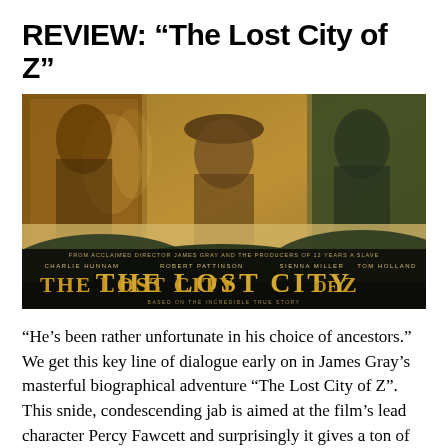REVIEW: “The Lost City of Z”
[Figure (photo): Movie poster for 'The Lost City of Z' showing three actors: a woman with candles on the left, a man in a hat in the center, and a bearded man on the right. Text on poster reads: FROM ACCLAIMED DIRECTOR JAMES GRAY AND THE PRODUCERS OF 12 YEARS A SLAVE. CHARLIE HUNNAM, ROBERT PATTINSON, SIENNA MILLER, TOM HOLLAND. THE LOST CITY OF Z. BASED ON THE INCREDIBLE TRUE STORY.]
“He’s been rather unfortunate in his choice of ancestors.” We get this key line of dialogue early on in James Gray’s masterful biographical adventure “The Lost City of Z”. This snide, condescending jab is aimed at the film’s lead character Percy Fawcett and surprisingly it gives a ton of